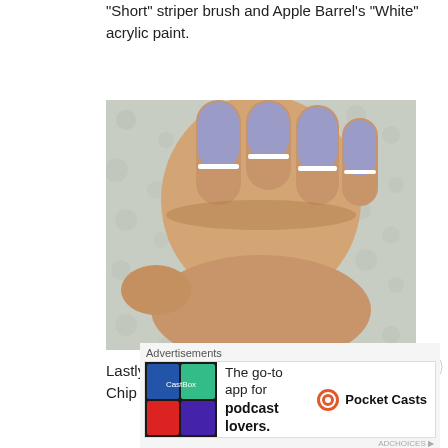“Short” striper brush and Apple Barrel’s “White” acrylic paint.
[Figure (photo): Close-up photo of a hand showing four fingers with lavender/periwinkle nail polish and a white stripe near the base of each nail, against a light floral background.]
Lastly, apply a top coat. I used China Glaze’s “No Chip Top Coat.”
Advertisements
[Figure (other): Advertisement banner for Pocket Casts app: colorful logo on left, text 'The go-to app for podcast lovers.' with Pocket Casts logo on right.]